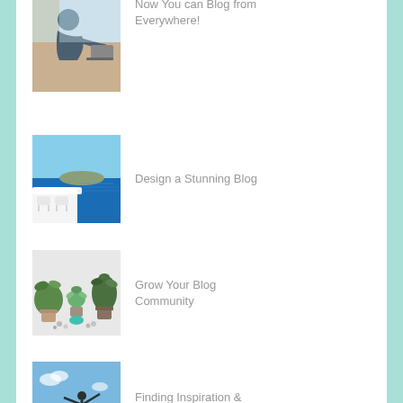[Figure (photo): Person leaning over a laptop/desk, partially visible at top of page]
Now You can Blog from Everywhere!
[Figure (photo): Scenic blue ocean view with white chairs, Santorini-style]
Design a Stunning Blog
[Figure (photo): Top-down view of green plants and succulents on white surface]
Grow Your Blog Community
[Figure (photo): Person doing yoga pose on hilltop against blue sky]
Finding Inspiration & Time to MOVE into 2018! Did you know the #1 Ne...
[Figure (photo): Golf ball on tee with blue sky and golf course]
Got shoulder pain?